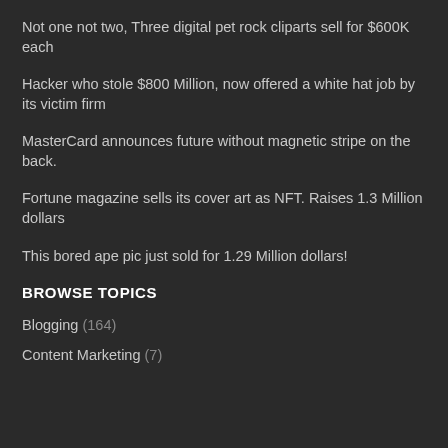Not one not two, Three digital pet rock cliparts sell for $600K each
Hacker who stole $800 Million, now offered a white hat job by its victim firm
MasterCard announces future without magnetic stripe on the back.
Fortune magazine sells its cover art as NFT. Raises 1.3 Million dollars
This bored ape pic just sold for 1.29 Million dollars!
BROWSE TOPICS
Blogging (164)
Content Marketing (7)